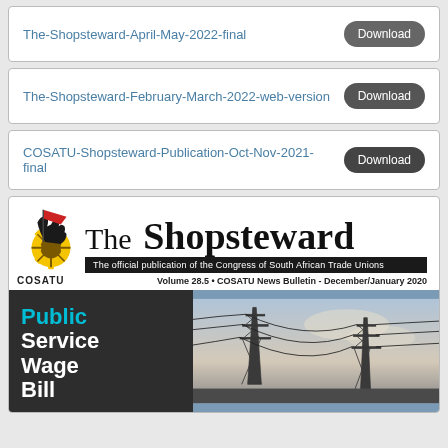The-Shopsteward-April-May-2022-final  Download
The-Shopsteward-February-March-2022-web-version  Download
COSATU-Shopsteward-Publication-Oct-Nov-2021-final  Download
[Figure (illustration): The Shopsteward magazine cover showing COSATU logo, title 'The Shopsteward', subtitle 'The official publication of the Congress of South African Trade Unions', volume info 'Volume 28.5 - COSATU News Bulletin - December/January 2020', and a cover image featuring power pylons with headline text 'Public Service Wage Bill' in blue and white on dark background.]